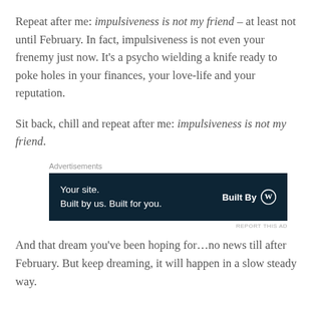Repeat after me: impulsiveness is not my friend – at least not until February. In fact, impulsiveness is not even your frenemy just now. It's a psycho wielding a knife ready to poke holes in your finances, your love-life and your reputation.
Sit back, chill and repeat after me: impulsiveness is not my friend.
[Figure (other): Advertisement banner with dark navy background. Left side reads 'Your site. Built by us. Built for you.' Right side reads 'Built By' with a WordPress logo icon.]
And that dream you've been hoping for…no news till after February. But keep dreaming, it will happen in a slow steady way.